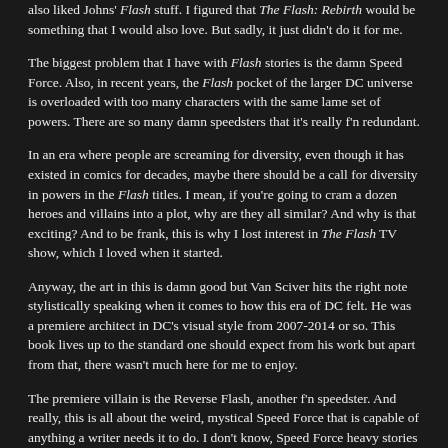also liked Johns' Flash stuff. I figured that The Flash: Rebirth would be something that I would also love. But sadly, it just didn't do it for me.
The biggest problem that I have with Flash stories is the damn Speed Force. Also, in recent years, the Flash pocket of the larger DC universe is overloaded with too many characters with the same lame set of powers. There are so many damn speedsters that it's really f'n redundant.
In an era where people are screaming for diversity, even though it has existed in comics for decades, maybe there should be a call for diversity in powers in the Flash titles. I mean, if you're going to cram a dozen heroes and villains into a plot, why are they all similar? And why is that exciting? And to be frank, this is why I lost interest in The Flash TV show, which I loved when it started.
Anyway, the art in this is damn good but Van Sciver hits the right note stylistically speaking when it comes to how this era of DC felt. He was a premiere architect in DC's visual style from 2007-2014 or so. This book lives up to the standard one should expect from his work but apart from that, there wasn't much here for me to enjoy.
The premiere villain is the Reverse Flash, another f'n speedster. And really, this is all about the weird, mystical Speed Force that is capable of anything a writer needs it to do. I don't know, Speed Force heavy stories bore me to tears and